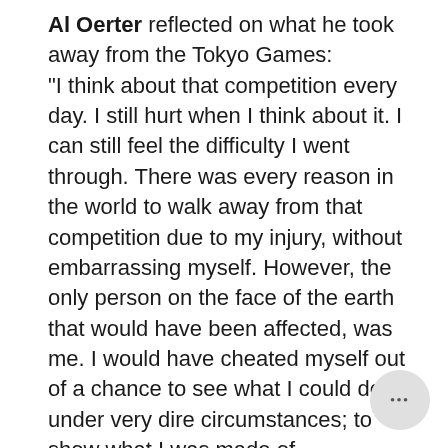Al Oerter reflected on what he took away from the Tokyo Games: "I think about that competition every day. I still hurt when I think about it. I can still feel the difficulty I went through. There was every reason in the world to walk away from that competition due to my injury, without embarrassing myself. However, the only person on the face of the earth that would have been affected, was me. I would have cheated myself out of a chance to see what I could do under very dire circumstances; to show what I was made of.

"I learned a great deal about myself that day. I think anyone presented with that kind of circumstance must attack it.